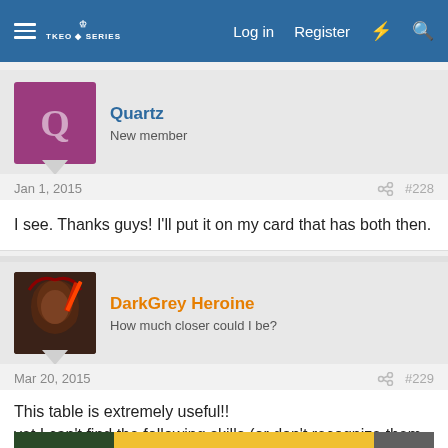Log in  Register
Quartz
New member
Jan 1, 2015  #228
I see. Thanks guys! I'll put it on my card that has both then.
DarkGrey Heroine
How much closer could I be?
Mar 20, 2015  #229
This table is extremely useful!!
yet I can't find the following skills (or don't recognize them in the table? idk.. I need a bit of help )
[Figure (screenshot): Game screenshot showing Japanese text: ケアルI [アタック専用] LV1  発動率:10%]